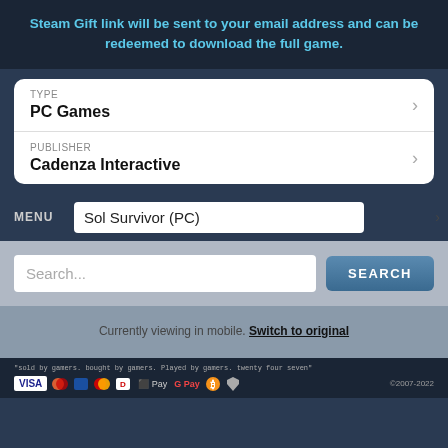Steam Gift link will be sent to your email address and can be redeemed to download the full game.
TYPE: PC Games
PUBLISHER: Cadenza Interactive
MENU  Sol Survivor (PC)
Search...  SEARCH
Currently viewing in mobile. Switch to original
"sold by gamers. bought by gamers. Played by gamers. twenty four seven" VISA [payment icons] ©2007-2022